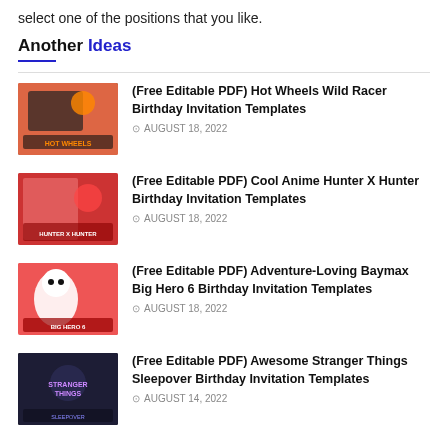select one of the positions that you like.
Another Ideas
(Free Editable PDF) Hot Wheels Wild Racer Birthday Invitation Templates
⊙ AUGUST 18, 2022
(Free Editable PDF) Cool Anime Hunter X Hunter Birthday Invitation Templates
⊙ AUGUST 18, 2022
(Free Editable PDF) Adventure-Loving Baymax Big Hero 6 Birthday Invitation Templates
⊙ AUGUST 18, 2022
(Free Editable PDF) Awesome Stranger Things Sleepover Birthday Invitation Templates
⊙ AUGUST 14, 2022